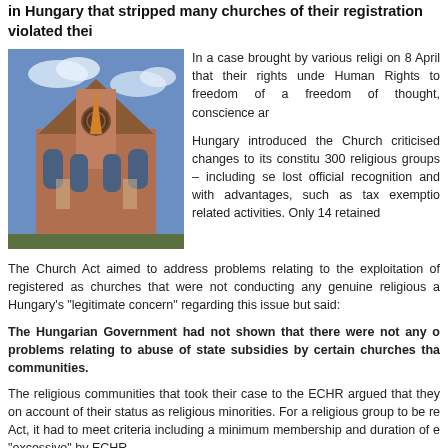in Hungary that stripped many churches of their registration violated thei
[Figure (photo): Photograph of a large brick church building taken from a low angle, showing ornate Gothic-style architecture against a blue sky with clouds.]
In a case brought by various religi on 8 April that their rights unde Human Rights to freedom of a freedom of thought, conscience ar
Hungary introduced the Church criticised changes to its constitu 300 religious groups – including se lost official recognition and with advantages, such as tax exemptio related activities. Only 14 retained
The Church Act aimed to address problems relating to the exploitation of registered as churches that were not conducting any genuine religious a Hungary's "legitimate concern" regarding this issue but said:
The Hungarian Government had not shown that there were not any o problems relating to abuse of state subsidies by certain churches tha communities.
The religious communities that took their case to the ECHR argued that they on account of their status as religious minorities. For a religious group to be re Act, it had to meet criteria including a minimum membership and duration of e "excessive" by ECHR.